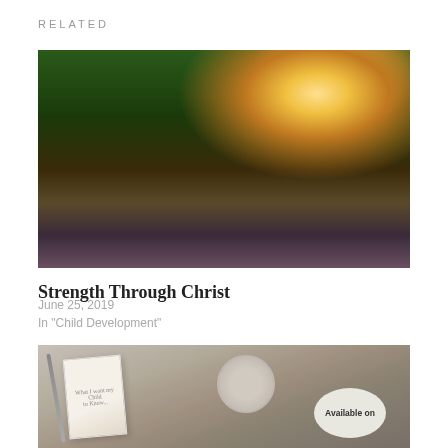RELATED
[Figure (photo): A hand watering a small green seedling in dark soil with sunlight rays in the background]
Strength Through Christ
June 25, 2019
In "Child Development"
[Figure (photo): A flatlay scene with a book, pencil, round dishes, and a circular badge reading 'Available on']